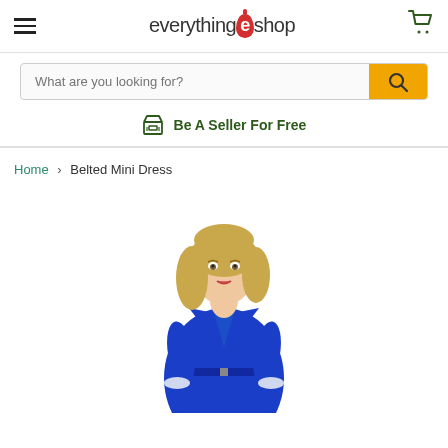everything e shop
What are you looking for?
Be A Seller For Free
Home > Belted Mini Dress
[Figure (photo): A woman with blonde hair wearing a blue belted mini dress, posed against a white background.]